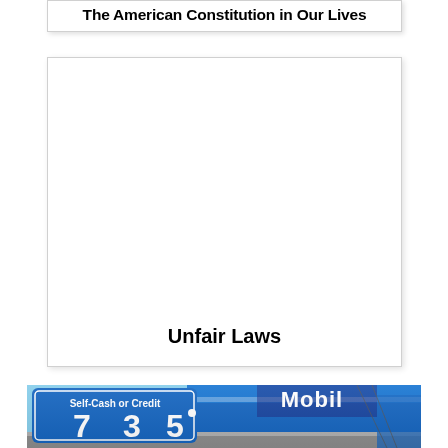The American Constitution in Our Lives
[Figure (other): White card/book cover with the text 'Unfair Laws' centered at the bottom]
[Figure (photo): Photo of a Mobil gas station showing a price sign reading 'Self-Cash or Credit' with price 7.35, blue canopy visible in background]